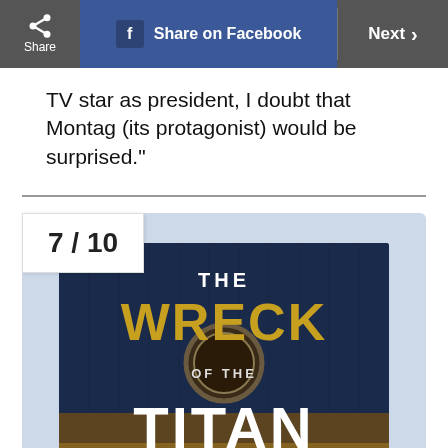Share | Share on Facebook | Next >
TV star as president, I doubt that Montag (its protagonist) would be surprised."
7/10
[Figure (illustration): Book cover of 'The Wreck of the Titan' with dark blue background showing the title text in large gold and white letters with a circular emblem in the center]